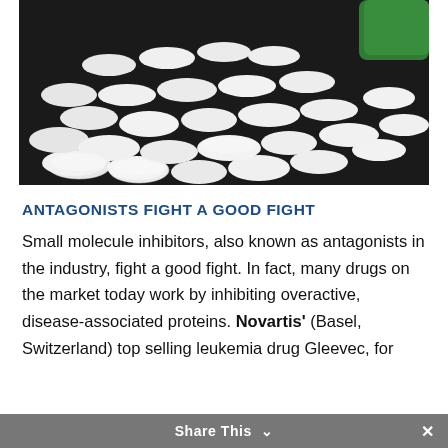[Figure (photo): Photograph of many small white round tablets/pills spilling out of a green pill bottle onto a dark background.]
ANTAGONISTS FIGHT A GOOD FIGHT
Small molecule inhibitors, also known as antagonists in the industry, fight a good fight. In fact, many drugs on the market today work by inhibiting overactive, disease-associated proteins. Novartis' (Basel, Switzerland) top selling leukemia drug Gleevec, for
Share This